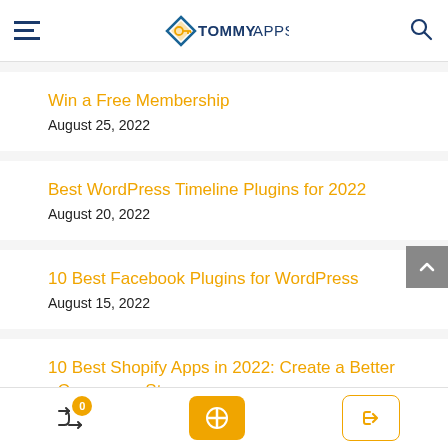TommyApps
Win a Free Membership
August 25, 2022
Best WordPress Timeline Plugins for 2022
August 20, 2022
10 Best Facebook Plugins for WordPress
August 15, 2022
10 Best Shopify Apps in 2022: Create a Better eCommerce Store
August 10, 2022
0 | + | →)